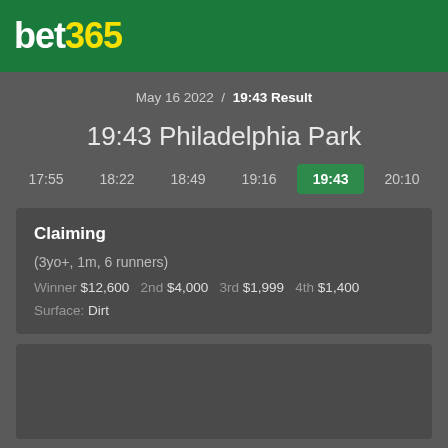bet365
May 16 2022 / 19:43 Result
19:43 Philadelphia Park
17:55  18:22  18:49  19:16  19:43  20:10
Claiming
(3yo+, 1m, 6 runners)
Winner $12,600  2nd $4,000  3rd $1,999  4th $1,400
Surface: Dirt